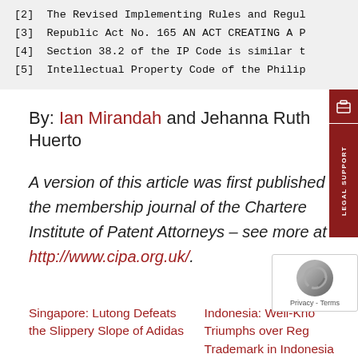[2] The Revised Implementing Rules and Regul
[3] Republic Act No. 165 AN ACT CREATING A P
[4] Section 38.2 of the IP Code is similar t
[5] Intellectual Property Code of the Philip
By: Ian Mirandah and Jehanna Ruth Huerto
A version of this article was first published the membership journal of the Chartered Institute of Patent Attorneys – see more at http://www.cipa.org.uk/.
Singapore: Lutong Defeats the Slippery Slope of Adidas
Indonesia: Well-Known Triumphs over Reg Trademark in Indonesia